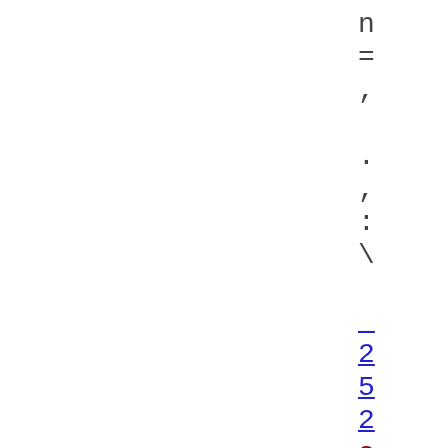n
=
,

.
,
:
\

_
2
5
2
self
.write
_vis